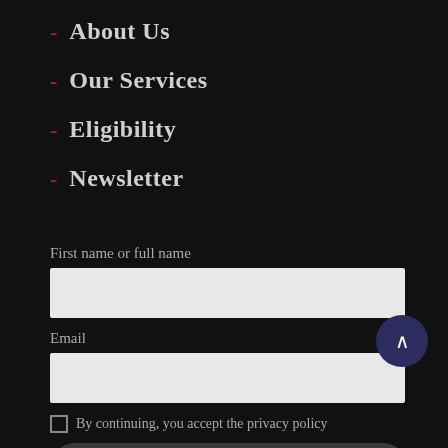- About Us
- Our Services
- Eligibility
- Newsletter
First name or full name
Email
By continuing, you accept the privacy policy
Subscribe